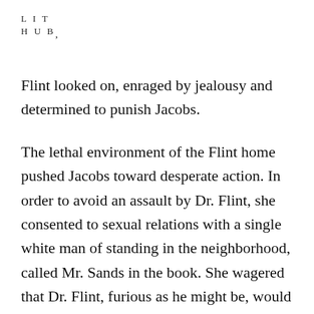L I T
H U B
Flint looked on, enraged by jealousy and determined to punish Jacobs.
The lethal environment of the Flint home pushed Jacobs toward desperate action. In order to avoid an assault by Dr. Flint, she consented to sexual relations with a single white man of standing in the neighborhood, called Mr. Sands in the book. She wagered that Dr. Flint, furious as he might be, would not attempt to rape her if she was already claimed by a man who was his social equal. Making this decision to protect her body from one white man by giving it to